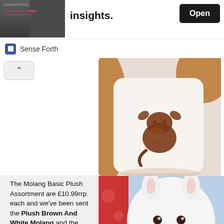insights.
Sense Forth
[Figure (photo): Close-up of embroidered brown Molang logo on white plush fabric]
The Molang Basic Plush Assortment are £10.99rrp each and we've been sent the Plush Brown And White Molang and the Plush White Molang.
[Figure (photo): Close-up of white Molang plush toy face with brown eyes and pink cheek, alongside a brown Molang plush]